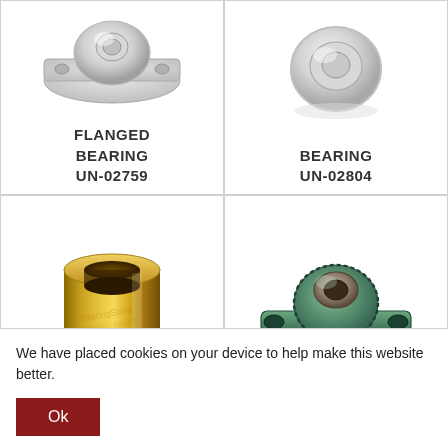[Figure (photo): Flanged bearing component, light gray, 3D render, top-left cell]
FLANGED BEARING
UN-02759
[Figure (photo): Bearing component, light gray, 3D render, top-right cell]
BEARING
UN-02804
[Figure (photo): Cylindrical brass/gold bushing, 3D render, bottom-left cell]
[Figure (photo): Green flanged bearing housing with center hole, 3D render, bottom-right cell]
We have placed cookies on your device to help make this website better.
Ok